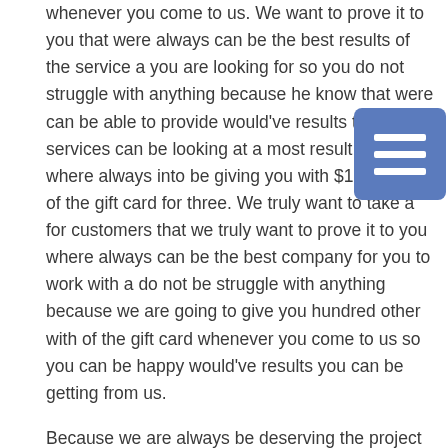whenever you come to us. We want to prove it to you that were always can be the best results of the service a you are looking for so you do not struggle with anything because he know that were can be able to provide would've results that the services can be looking at a most result and where always into be giving you with $100 worth of the gift card for three. We truly want to take a for customers that we truly want to prove it to you where always can be the best company for you to work with a do not be struggle with anything because we are going to give you hundred other with of the gift card whenever you come to us so you can be happy would've results you can be getting from us.
[Figure (other): Blue rounded rectangle button with three horizontal white lines (hamburger/menu icon)]
Because we are always be deserving the project on time for you. We know it is very frustrating for you to work with anybody other were never going to respect a time within your services. Whenever do that to